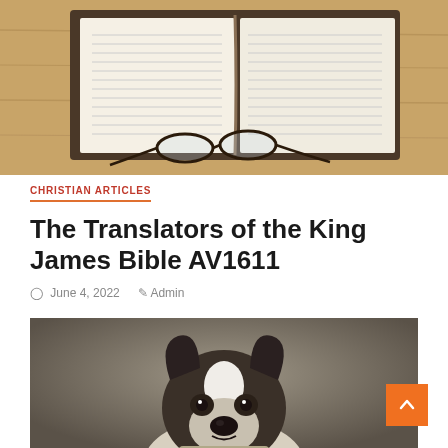[Figure (photo): Open Bible with reading glasses resting on a wooden surface, viewed from above]
CHRISTIAN ARTICLES
The Translators of the King James Bible AV1611
June 4, 2022  Admin
[Figure (photo): Black and white Boston Terrier dog sitting and facing the camera against a gray background]